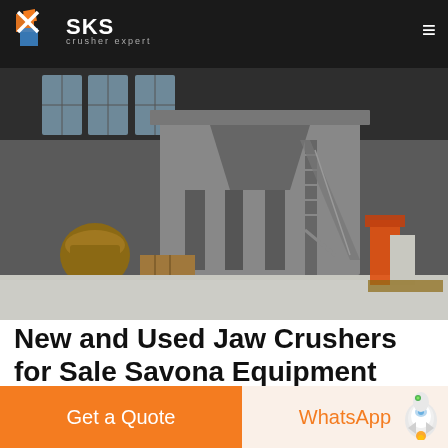SKS crusher expert
[Figure (photo): Industrial facility interior showing large crushing machinery including a jaw crusher on a platform with metal staircase, and other equipment on the factory floor]
New and Used Jaw Crushers for Sale Savona Equipment overbuilt car crusher for sale BINQ Mining
Savona Equipment is a jaw crusher supplier worldwide We have jaw crushers parts for sale which as subject to
Get a Quote | WhatsApp